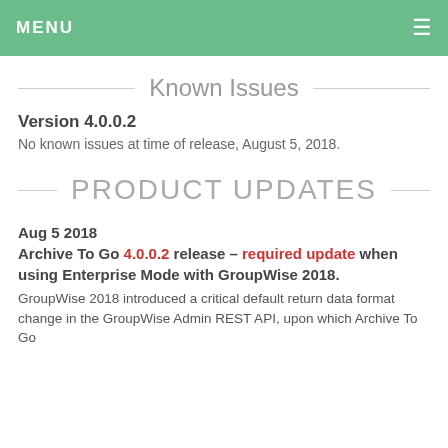MENU
Known Issues
Version 4.0.0.2
No known issues at time of release, August 5, 2018.
PRODUCT UPDATES
Aug 5 2018
Archive To Go 4.0.0.2 release – required update when using Enterprise Mode with GroupWise 2018.
GroupWise 2018 introduced a critical default return data format change in the GroupWise Admin REST API, upon which Archive To Go